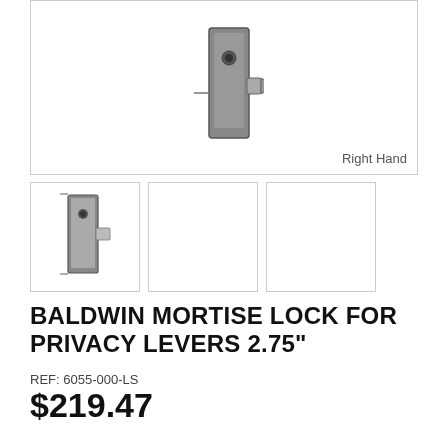[Figure (photo): Main product image of Baldwin Mortise Lock, showing the lock body from the side. Label 'Right Hand' in lower right.]
[Figure (photo): Thumbnail 1: Side view of the mortise lock body]
[Figure (photo): Thumbnail 2: Empty/blank thumbnail]
[Figure (photo): Thumbnail 3: Empty/blank thumbnail]
BALDWIN MORTISE LOCK FOR PRIVACY LEVERS 2.75"
REF: 6055-000-LS
$219.47
Price From: $219.47
1 IN STOCK
Handing *
Choose an Option...
Finish *